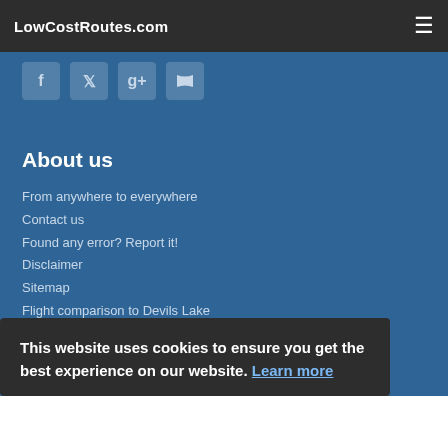LowCostRoutes.com
[Figure (illustration): Social media icons: Facebook, Twitter, Google+, RSS feed]
About us
From anywhere to everywhere
Contact us
Found any error? Report it!
Disclaimer
Sitemap
Flight comparison to Devils Lake
Hotel booking
This website uses cookies to ensure you get the best experience on our website. Learn more